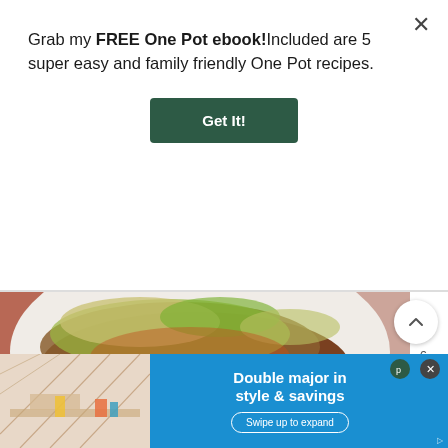Grab my FREE One Pot ebook!Included are 5 super easy and family friendly One Pot recipes.
Get It!
[Figure (photo): Close-up photo of a food dish on a white plate — appears to be a warm salad or taco bowl with greens, chips, and seasoned toppings, set on a pinkish-terracotta background]
VEGAN MEALS
Warm R...
[Figure (screenshot): Advertisement banner at the bottom showing a home decor scene on the left and blue background with text 'Double major in style & savings' and 'Swipe up to expand' button on the right]